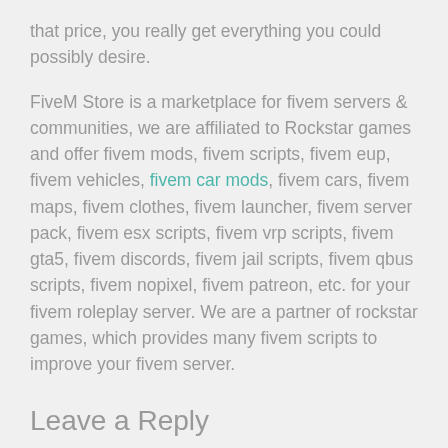that price, you really get everything you could possibly desire.
FiveM Store is a marketplace for fivem servers & communities, we are affiliated to Rockstar games and offer fivem mods, fivem scripts, fivem eup, fivem vehicles, fivem car mods, fivem cars, fivem maps, fivem clothes, fivem launcher, fivem server pack, fivem esx scripts, fivem vrp scripts, fivem gta5, fivem discords, fivem jail scripts, fivem qbus scripts, fivem nopixel, fivem patreon, etc. for your fivem roleplay server. We are a partner of rockstar games, which provides many fivem scripts to improve your fivem server.
Leave a Reply